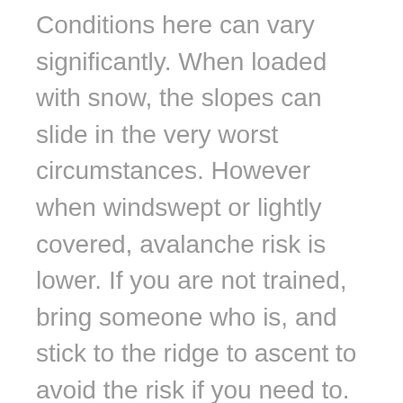Conditions here can vary significantly. When loaded with snow, the slopes can slide in the very worst circumstances. However when windswept or lightly covered, avalanche risk is lower. If you are not trained, bring someone who is, and stick to the ridge to ascent to avoid the risk if you need to. At the summit, you can choose to traverse over to Torreys Peak if you have time. Avoid the large cornices that form on the ridge, as they can break off if you step on them, taking you with them.